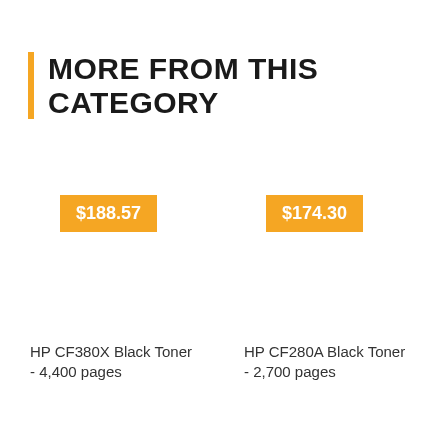MORE FROM THIS CATEGORY
$188.57
$174.30
HP CF380X Black Toner - 4,400 pages
HP CF280A Black Toner - 2,700 pages